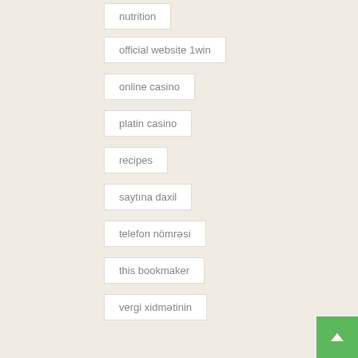nutrition
official website 1win
online casino
platin casino
recipes
saytına daxil
telefon nömrəsi
this bookmaker
vergi xidmətinin
welcome bonus
wholesome food